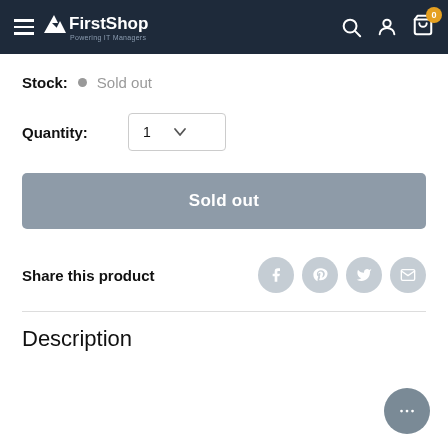FirstShop - Powering IT Managers
Stock: Sold out
Quantity: 1
Sold out
Share this product
Description